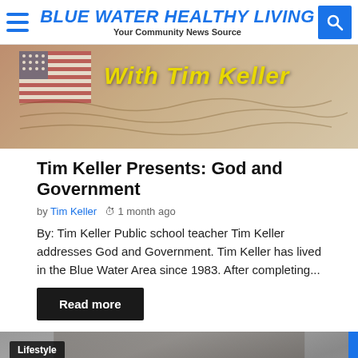BLUE WATER HEALTHY LIVING — Your Community News Source
[Figure (photo): Banner image with American flag and handwritten documents background, with yellow text 'With Tim Keller']
Tim Keller Presents: God and Government
by Tim Keller  1 month ago
By: Tim Keller Public school teacher Tim Keller addresses God and Government. Tim Keller has lived in the Blue Water Area since 1983. After completing...
Read more
[Figure (photo): Lifestyle tagged photo showing two people, one wearing glasses in a suit]